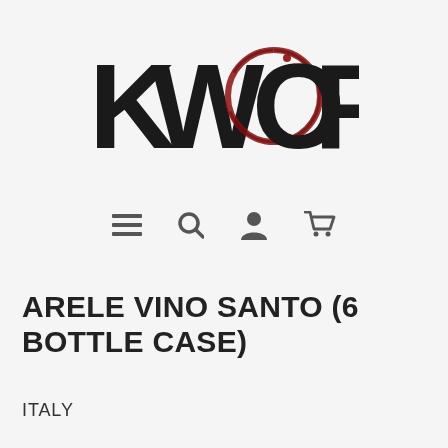[Figure (logo): KWOFF logo in bold black text with a dark red wine-stain circle replacing the letter O]
[Figure (other): Navigation icons row: hamburger menu, search magnifier, user profile, shopping cart]
ARELE VINO SANTO (6 BOTTLE CASE)
ITALY